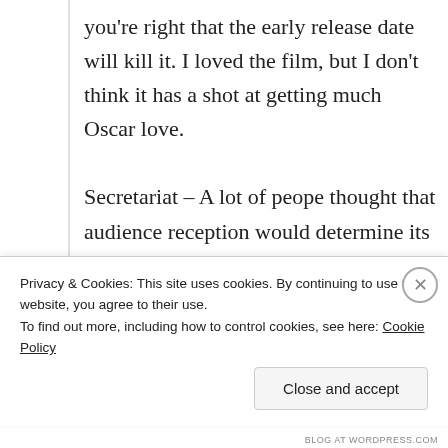you're right that the early release date will kill it. I loved the film, but I don't think it has a shot at getting much Oscar love.

Secretariat – A lot of peope thought that audience reception would determine its chances, and as you said, the opening box office was unimpressive. I think it still has a shot for Best Picture (as does Lane for Actress), but
Privacy & Cookies: This site uses cookies. By continuing to use this website, you agree to their use.
To find out more, including how to control cookies, see here: Cookie Policy
Close and accept